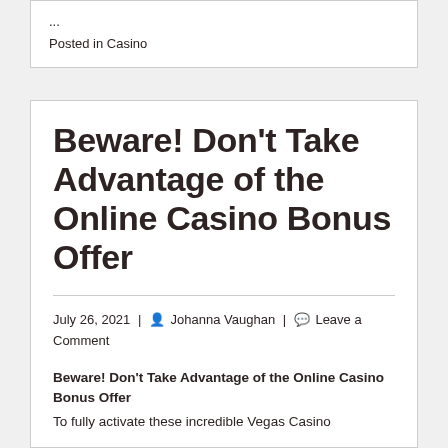...
Posted in Casino
Beware! Don’t Take Advantage of the Online Casino Bonus Offer
July 26, 2021 | Johanna Vaughan | Leave a Comment
Beware! Don’t Take Advantage of the Online Casino Bonus Offer
To fully activate these incredible Vegas Casino